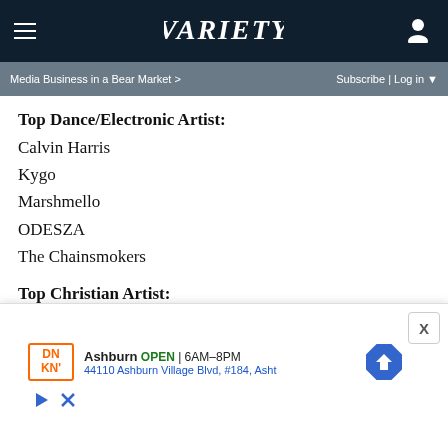VARIETY
Media Business in a Bear Market >  Subscribe | Log in
Top Dance/Electronic Artist:
Calvin Harris
Kygo
Marshmello
ODESZA
The Chainsmokers
Top Christian Artist:
Cory Asbury
Lauren Daigle
For King & Country
Hillsong Worship
[Figure (other): Advertisement: Dunkin Donuts - Ashburn, OPEN 6AM-8PM, 44110 Ashburn Village Blvd, #184, Ashburn]